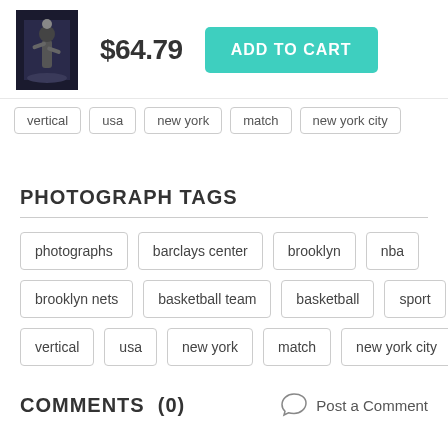[Figure (photo): Basketball player dunking, product thumbnail image]
$64.79
ADD TO CART
vertical
usa
new york
match
new york city
PHOTOGRAPH TAGS
photographs
barclays center
brooklyn
nba
brooklyn nets
basketball team
basketball
sport
vertical
usa
new york
match
new york city
COMMENTS  (0)
Post a Comment